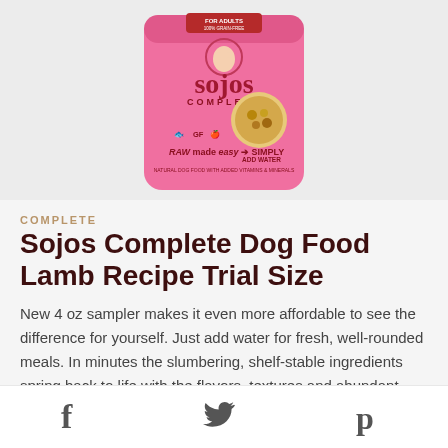[Figure (photo): Pink Sojos Complete dog food bag with 'FOR ADULTS 100% GRAIN-FREE' label. Brand name 'sojos' in large red letters, 'COMPLETE' below. Shows 'RAW made easy → SIMPLY ADD WATER'. Natural dog food with added vitamins & minerals.]
COMPLETE
Sojos Complete Dog Food Lamb Recipe Trial Size
New 4 oz sampler makes it even more affordable to see the difference for yourself. Just add water for fresh, well-rounded meals. In minutes the slumbering, shelf-stable ingredients spring back to life with the flavors, textures and abundant
f  (Twitter bird icon)  p